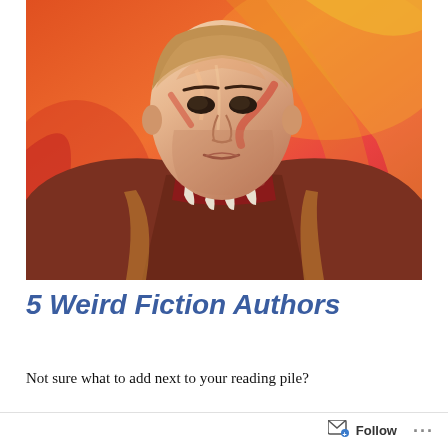[Figure (illustration): Stylized digital painting of a man with intense expression, wearing a dark jacket and striped cravat/scarf. Bold swirling brushstrokes in orange, red, yellow background tones with pink and white highlights on the face.]
5 Weird Fiction Authors
Not sure what to add next to your reading pile?
Follow ...